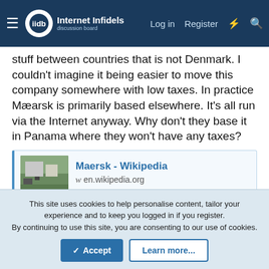Internet Infidels | Log in | Register
stuff between countries that is not Denmark. I couldn't imagine it being easier to move this company somewhere with low taxes. In practice Mæarsk is primarily based elsewhere. It's all run via the Internet anyway. Why don't they base it in Panama where they won't have any taxes?
[Figure (screenshot): Link preview box for Maersk - Wikipedia, showing thumbnail of building and URL en.wikipedia.org]
I know that the Danish military protects their ships from piracy. But wouldn't the UN do that anyway? I know they patrol the waters outside Somalia.
This site uses cookies to help personalise content, tailor your experience and to keep you logged in if you register.
By continuing to use this site, you are consenting to our use of cookies.